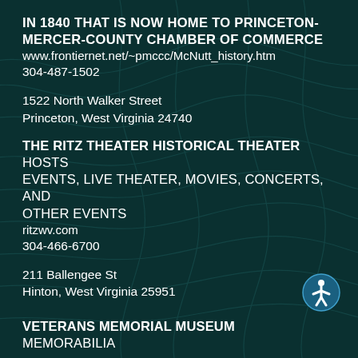IN 1840 THAT IS NOW HOME TO PRINCETON-MERCER-COUNTY CHAMBER OF COMMERCE
www.frontiernet.net/~pmccc/McNutt_history.htm
304-487-1502
1522 North Walker Street
Princeton, West Virginia 24740
THE RITZ THEATER HISTORICAL THEATER HOSTS EVENTS, LIVE THEATER, MOVIES, CONCERTS, AND OTHER EVENTS
ritzwv.com
304-466-6700
211 Ballengee St
Hinton, West Virginia 25951
VETERANS MEMORIAL MUSEUM MEMORABILIA